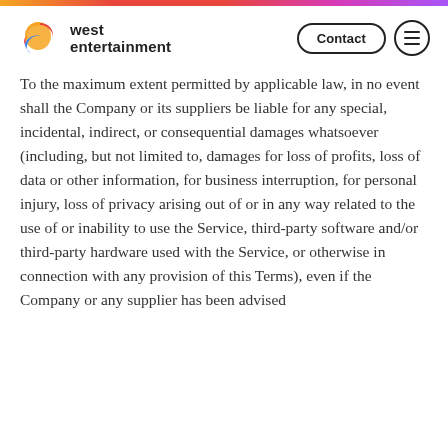west entertainment
To the maximum extent permitted by applicable law, in no event shall the Company or its suppliers be liable for any special, incidental, indirect, or consequential damages whatsoever (including, but not limited to, damages for loss of profits, loss of data or other information, for business interruption, for personal injury, loss of privacy arising out of or in any way related to the use of or inability to use the Service, third-party software and/or third-party hardware used with the Service, or otherwise in connection with any provision of this Terms), even if the Company or any supplier has been advised